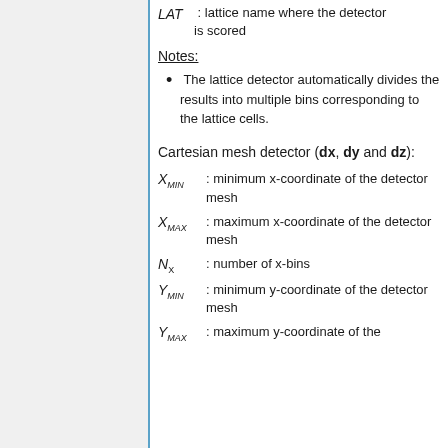Detector lattice (dl):
LAT : lattice name where the detector is scored
Notes:
The lattice detector automatically divides the results into multiple bins corresponding to the lattice cells.
Cartesian mesh detector (dx, dy and dz):
X_MIN : minimum x-coordinate of the detector mesh
X_MAX : maximum x-coordinate of the detector mesh
N_X : number of x-bins
Y_MIN : minimum y-coordinate of the detector mesh
Y_MAX : maximum y-coordinate of the